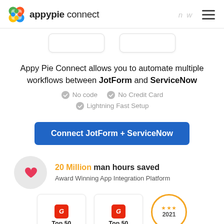Appy Pie Connect
Appy Pie Connect allows you to automate multiple workflows between JotForm and ServiceNow
No code
No Credit Card
Lightning Fast Setup
Connect JotForm + ServiceNow
20 Million man hours saved
Award Winning App Integration Platform
[Figure (infographic): Two G2 Top 50 award badges and a circular 2021 award medallion with orange border]